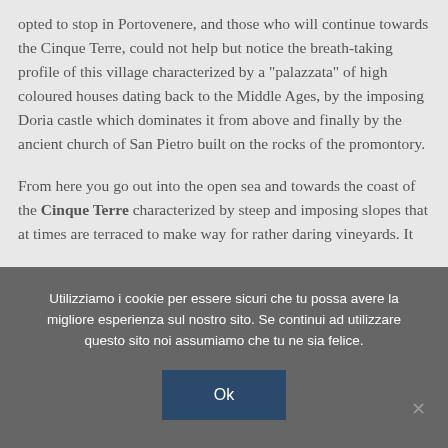opted to stop in Portovenere, and those who will continue towards the Cinque Terre, could not help but notice the breath-taking profile of this village characterized by a "palazzata" of high coloured houses dating back to the Middle Ages, by the imposing Doria castle which dominates it from above and finally by the ancient church of San Pietro built on the rocks of the promontory.
From here you go out into the open sea and towards the coast of the Cinque Terre characterized by steep and imposing slopes that at times are terraced to make way for rather daring vineyards. It
Utilizziamo i cookie per essere sicuri che tu possa avere la migliore esperienza sul nostro sito. Se continui ad utilizzare questo sito noi assumiamo che tu ne sia felice.